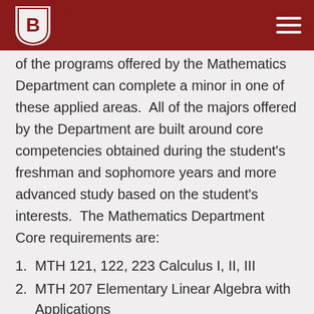Bradley University Mathematics Department header
of the programs offered by the Mathematics Department can complete a minor in one of these applied areas.  All of the majors offered by the Department are built around core competencies obtained during the student's freshman and sophomore years and more advanced study based on the student's interests.  The Mathematics Department Core requirements are:
MTH 121, 122, 223 Calculus I, II, III
MTH 207 Elementary Linear Algebra with Applications
MTH 325 Probability and Statistics I
CS 100 Introduction to Programming Concepts and